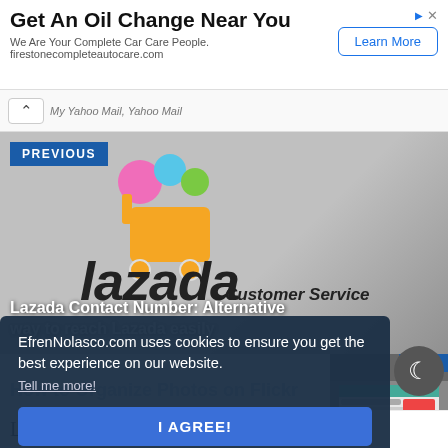[Figure (screenshot): Advertisement banner for Firestone Complete Auto Care oil change service, with 'Get An Oil Change Near You' headline and 'Learn More' button]
My Yahoo Mail, Yahoo Mail
[Figure (screenshot): Navigation chevron/back button UI element]
[Figure (screenshot): Previous post block with Lazada logo and Customer Service text, labeled PREVIOUS. Title: Lazada Contact Number: Alternative way to reach Lazada easily]
[Figure (screenshot): NEXT post block showing partial screenshot related to organizing photos on Flickr]
EfrenNolasco.com uses cookies to ensure you get the best experience on our website.
Tell me more!
I AGREE!
[Figure (screenshot): Dark mode toggle button with moon/crescent icon]
Leave a Comment